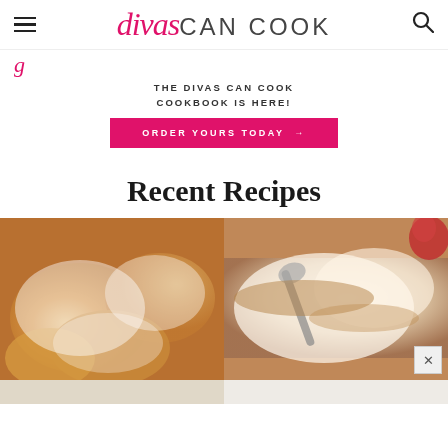divas CAN COOK
THE DIVAS CAN COOK COOKBOOK IS HERE!
ORDER YOURS TODAY →
Recent Recipes
[Figure (photo): Close-up of powdered sugar donuts piled on a plate]
[Figure (photo): Creamy dessert dish being scooped with a spoon, with a red apple in background]